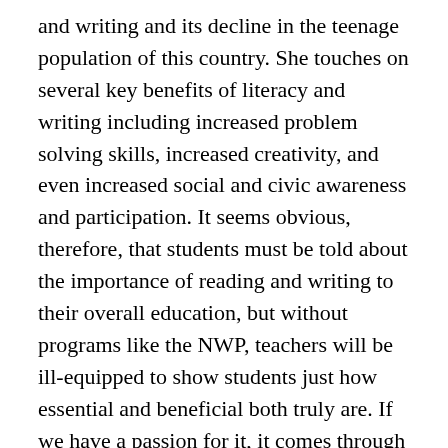and writing and its decline in the teenage population of this country. She touches on several key benefits of literacy and writing including increased problem solving skills, increased creativity, and even increased social and civic awareness and participation. It seems obvious, therefore, that students must be told about the importance of reading and writing to their overall education, but without programs like the NWP, teachers will be ill-equipped to show students just how essential and beneficial both truly are. If we have a passion for it, it comes through in what we do. Students see it, and whether or not they admit to this truth, they respond to it. The NWP helps teachers gain that confidence and joy that is needed to motivate students in this new electronic age, and, for that reason alone, it should be given continued funding.